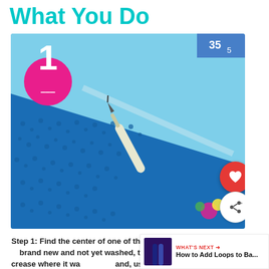What You Do
[Figure (photo): Close-up photo of a blue towel with a seam ripper tool placed on top, showing numbered step badge '1' in a pink circle overlay in the top-left corner.]
Step 1: Find the center of one of the long sides {when the towel is brand new and not yet washed, this is easy because there's a crease where it was folded} and, using a seam ripper, open up the seam about 1" wide.